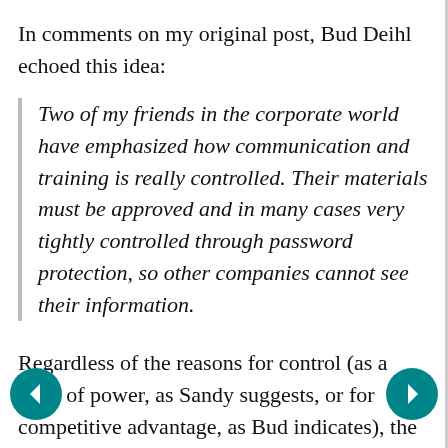In comments on my original post, Bud Deihl echoed this idea:
Two of my friends in the corporate world have emphasized how communication and training is really controlled. Their materials must be approved and in many cases very tightly controlled through password protection, so other companies cannot see their information.
Regardless of the reasons for control (as a form of power, as Sandy suggests, or for competitive advantage, as Bud indicates), the key issue here is that use of social media for learning does